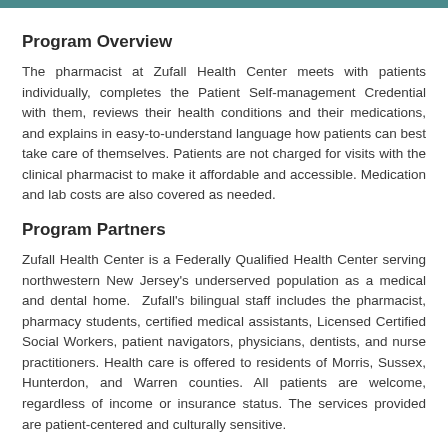Program Overview
The pharmacist at Zufall Health Center meets with patients individually, completes the Patient Self-management Credential with them, reviews their health conditions and their medications, and explains in easy-to-understand language how patients can best take care of themselves. Patients are not charged for visits with the clinical pharmacist to make it affordable and accessible. Medication and lab costs are also covered as needed.
Program Partners
Zufall Health Center is a Federally Qualified Health Center serving northwestern New Jersey’s underserved population as a medical and dental home.  Zufall’s bilingual staff includes the pharmacist, pharmacy students, certified medical assistants, Licensed Certified Social Workers, patient navigators, physicians, dentists, and nurse practitioners. Health care is offered to residents of Morris, Sussex, Hunterdon, and Warren counties. All patients are welcome, regardless of income or insurance status. The services provided are patient-centered and culturally sensitive.